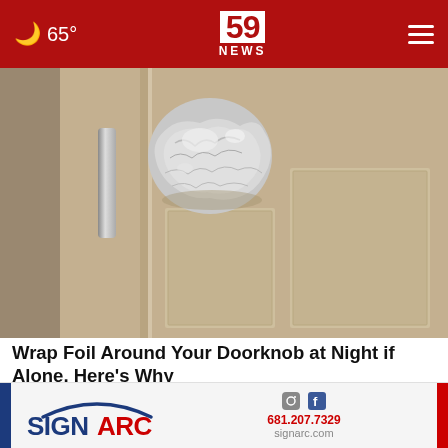65° | 59 NEWS
[Figure (photo): A door knob wrapped in aluminum foil, against a beige/tan wooden door]
Wrap Foil Around Your Doorknob at Night if Alone, Here's Why
Sogoodly
[Figure (logo): SIGNARC advertisement banner with phone number 681.207.7329 and website signarc.com, with Instagram and Facebook icons]